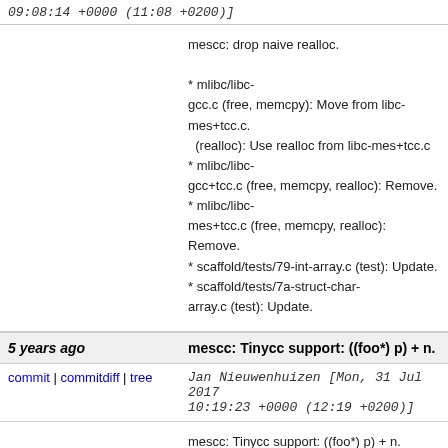09:08:14 +0000 (11:08 +0200)]
mescc: drop naive realloc.

* mlibc/libc-gcc.c (free, memcpy): Move from libc-mes+tcc.c.
  (realloc): Use realloc from libc-mes+tcc.c
* mlibc/libc-gcc+tcc.c (free, memcpy, realloc): Remove.
* mlibc/libc-mes+tcc.c (free, memcpy, realloc): Remove.
* scaffold/tests/79-int-array.c (test): Update.
* scaffold/tests/7a-struct-char-array.c (test): Update.
5 years ago	mescc: Tinycc support: ((foo*) p) + n.
commit | commitdiff | tree	Jan Nieuwenhuizen [Mon, 31 Jul 2017 10:19:23 +0000 (12:19 +0200)]
mescc: Tinycc support: ((foo*) p) + n.

* module/language/c99/compiler.mes init-declr->pointer, expr->pointer,
  expr->size): support: ((foo*) p) + n.
  (expr->accu*): Consider field size for foo.bar[baz].
* scaffold/tests/7b-struct-int-array.c: Test it.
* scaffold/tests/7b-scaffold-test): Build it.